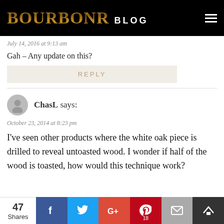BOURBONR BLOG
July 14, 2016 at 9:13 am
Gah – Any update on this?
REPLY
ChasL says:
October 23, 2014 at 8:23 pm
I've seen other products where the white oak piece is drilled to reveal untoasted wood. I wonder if half of the wood is toasted, how would this technique work?
47 Shares